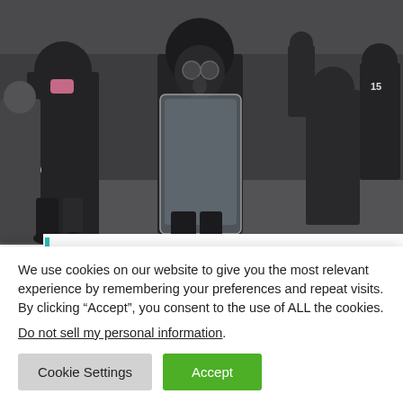[Figure (photo): Protest or riot scene with police officers in black gear and riot shields, surrounded by crowds. One officer wears a gas mask and holds a large clear shield. A person with a yellow helmet is visible in the background. Number '15' visible on one officer's clothing.]
Interview: ‘It was the
We use cookies on our website to give you the most relevant experience by remembering your preferences and repeat visits. By clicking “Accept”, you consent to the use of ALL the cookies.
Do not sell my personal information.
Cookie Settings  Accept